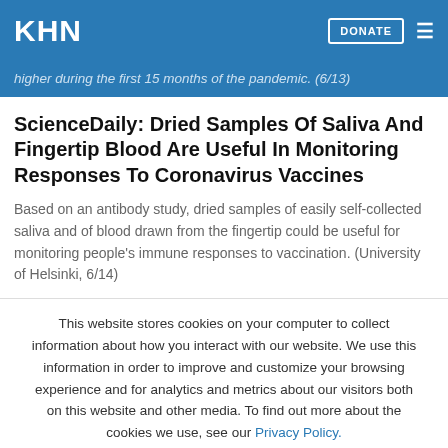KHN | DONATE
higher during the first 15 months of the pandemic. (6/13)
ScienceDaily: Dried Samples Of Saliva And Fingertip Blood Are Useful In Monitoring Responses To Coronavirus Vaccines
Based on an antibody study, dried samples of easily self-collected saliva and of blood drawn from the fingertip could be useful for monitoring people's immune responses to vaccination. (University of Helsinki, 6/14)
This website stores cookies on your computer to collect information about how you interact with our website. We use this information in order to improve and customize your browsing experience and for analytics and metrics about our visitors both on this website and other media. To find out more about the cookies we use, see our Privacy Policy.
Accept